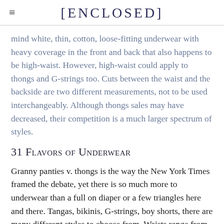[ENCLOSED]
mind white, thin, cotton, loose-fitting underwear with heavy coverage in the front and back that also happens to be high-waist. However, high-waist could apply to thongs and G-strings too. Cuts between the waist and the backside are two different measurements, not to be used interchangeably. Although thongs sales may have decreased, their competition is a much larger spectrum of styles.
31 Flavors of Underwear
Granny panties v. thongs is the way the New York Times framed the debate, yet there is so much more to underwear than a full on diaper or a few triangles here and there. Tangas, bikinis, G-strings, boy shorts, there are many different styles to choose from. Waists range from the ultra-low-rise to the nipple grazing – and